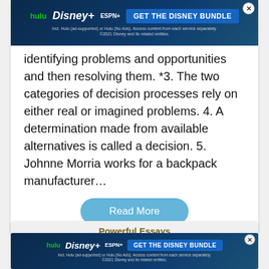[Figure (screenshot): Disney Bundle ad banner with Hulu, Disney+, ESPN+ logos and GET THE DISNEY BUNDLE CTA button]
identifying problems and opportunities and then resolving them. *3. The two categories of decision processes rely on either real or imagined problems. 4. A determination made from available alternatives is called a decision. 5. Johnne Morria works for a backpack manufacturer…
Read More
Powerful Essays
Robert Katz: Skills of an Effective Administrator
1580
7 Pages
[Figure (screenshot): Disney Bundle ad banner with Hulu, Disney+, ESPN+ logos and GET THE DISNEY BUNDLE CTA button]